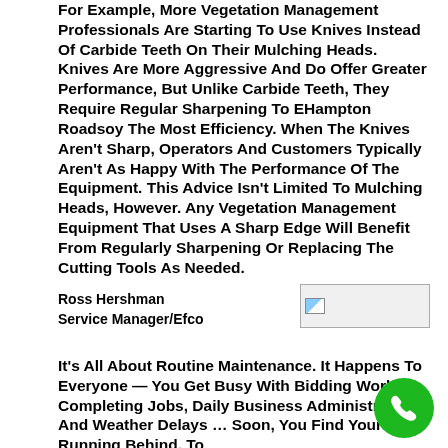For Example, More Vegetation Management Professionals Are Starting To Use Knives Instead Of Carbide Teeth On Their Mulching Heads. Knives Are More Aggressive And Do Offer Greater Performance, But Unlike Carbide Teeth, They Require Regular Sharpening To EHampton Roadsoy The Most Efficiency. When The Knives Aren't Sharp, Operators And Customers Typically Aren't As Happy With The Performance Of The Equipment. This Advice Isn't Limited To Mulching Heads, However. Any Vegetation Management Equipment That Uses A Sharp Edge Will Benefit From Regularly Sharpening Or Replacing The Cutting Tools As Needed.
Ross Hershman
Service Manager/Efco
[Figure (other): Small broken/placeholder image icon]
It's All About Routine Maintenance. It Happens To Everyone — You Get Busy With Bidding Work, Completing Jobs, Daily Business Administration And Weather Delays … Soon, You Find Yourself Running Behind. To
[Figure (other): Green circular phone/call button in the bottom right corner]